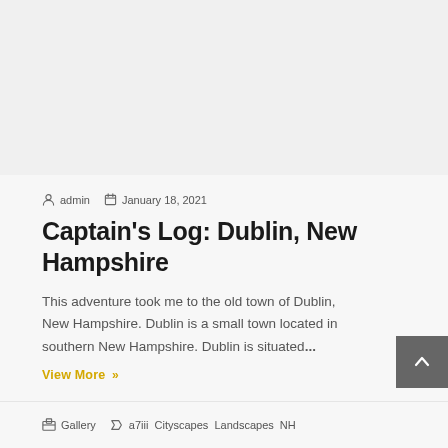[Figure (photo): Gray placeholder image area at the top of the blog post card]
admin  January 18, 2021
Captain's Log: Dublin, New Hampshire
This adventure took me to the old town of Dublin, New Hampshire. Dublin is a small town located in southern New Hampshire. Dublin is situated...
View More »
Gallery  a7iii  Cityscapes  Landscapes  NH